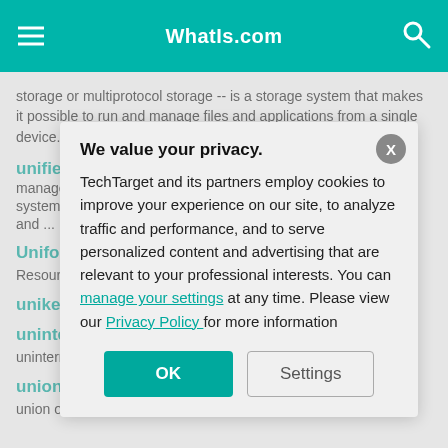WhatIs.com
storage or multiprotocol storage -- is a storage system that makes it possible to run and manage files and applications from a single device.
unified threat management (UTM)
- Unified threat management (UTM) describes an information security (infosec) system that provides a single point of protection aga... spyware and ...
Uniform Re...
Resource Ide... identifies a lo... usually, but n...
unikernel
- ... system that o... specific applic...
uninterrupt...
uninterruptibl... allows a comp... time when inc...
union syml...
union of tw...
We value your privacy.
TechTarget and its partners employ cookies to improve your experience on our site, to analyze traffic and performance, and to serve personalized content and advertising that are relevant to your professional interests. You can manage your settings at any time. Please view our Privacy Policy for more information